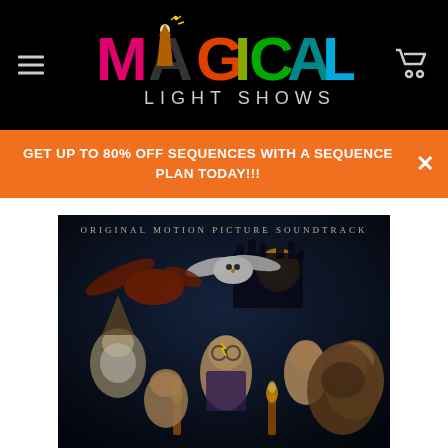[Figure (logo): Magical Light Shows logo on black background with colorful letters and a wizard silhouette]
GET UP TO 80% OFF SEQUENCES WITH A SEQUENCE PLAN TODAY!!!
[Figure (photo): Harry Potter and the Sorcerer's Stone Original Motion Picture Soundtrack album cover showing Harry Potter and other characters]